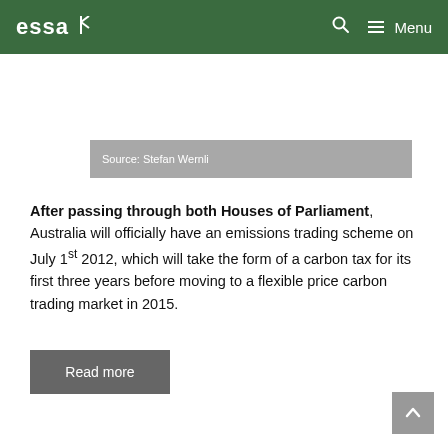essa  🔍  ≡ Menu
Source: Stefan Wernli
After passing through both Houses of Parliament, Australia will officially have an emissions trading scheme on July 1st 2012, which will take the form of a carbon tax for its first three years before moving to a flexible price carbon trading market in 2015.
Read more